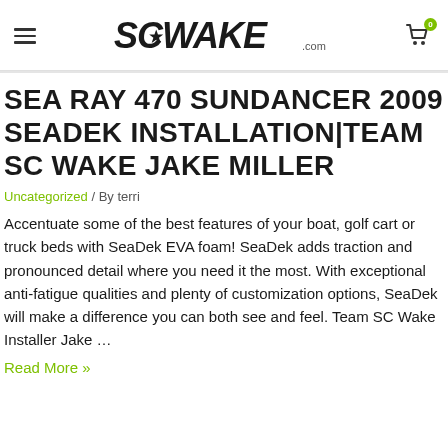SCWake.com
SEA RAY 470 SUNDANCER 2009 SEADEK INSTALLATION|TEAM SC WAKE JAKE MILLER
Uncategorized / By terri
Accentuate some of the best features of your boat, golf cart or truck beds with SeaDek EVA foam! SeaDek adds traction and pronounced detail where you need it the most. With exceptional anti-fatigue qualities and plenty of customization options, SeaDek will make a difference you can both see and feel. Team SC Wake Installer Jake …
Read More »